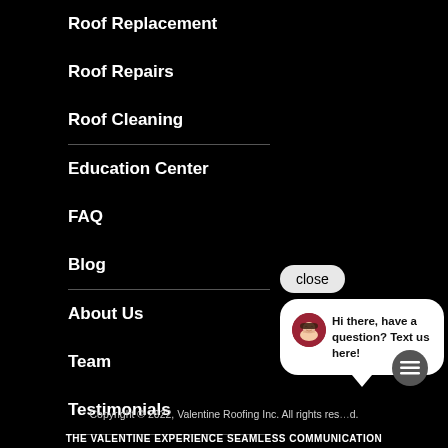Roof Replacement
Roof Repairs
Roof Cleaning
Education Center
FAQ
Blog
About Us
Team
Testimonials
Contact Us
[Figure (screenshot): Chat popup with avatar and text: Hi there, have a question? Text us here! with a close button]
Copyright © 2022, Valentine Roofing Inc. All rights reserved.
THE VALENTINE EXPERIENCE SEAMLESS COMMUNICATION